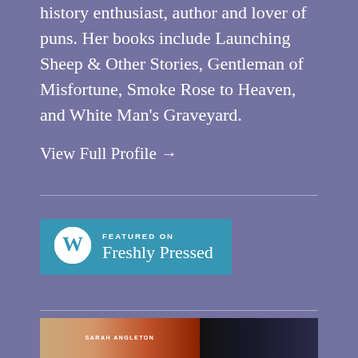history enthusiast, author and lover of puns. Her books include Launching Sheep & Other Stories, Gentleman of Misfortune, Smoke Rose to Heaven, and White Man's Graveyard.
View Full Profile →
[Figure (logo): WordPress 'Featured on Freshly Pressed' badge with WordPress logo circle on teal/blue background]
[Figure (photo): Bottom section showing book covers including one with 'SARAH ANGLETON' text visible]